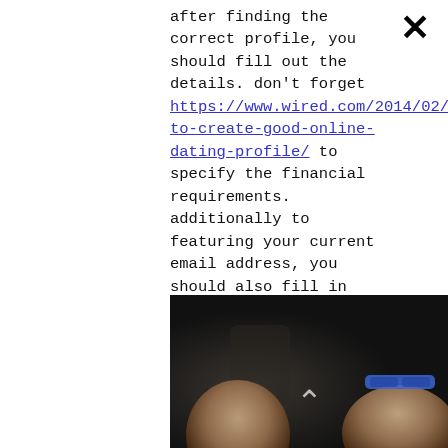after finding the correct profile, you should fill out the details. don't forget https://www.wired.com/2014/02/how-to-create-good-online-dating-profile/ to specify the financial requirements. additionally to featuring your current email address, you should also fill in your account description. understand that your goal is always to meet a sweets daddies who are able to match with your preferences. after you have established your financial requirements, really time to commence your search. nevertheless , you can also publish a photo. that way, you'll get the right person.
[Figure (photo): Dark photo showing two men's faces at the bottom of the frame, partially visible. One face on the left, one on the right with sunglasses on forehead. Dark background. A chevron/up arrow symbol visible in the center.]